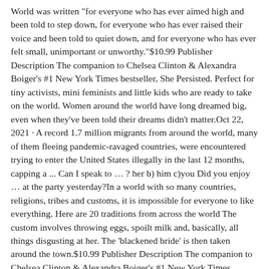World was written "for everyone who has ever aimed high and been told to step down, for everyone who has ever raised their voice and been told to quiet down, and for everyone who has ever felt small, unimportant or unworthy."$10.99 Publisher Description The companion to Chelsea Clinton & Alexandra Boiger's #1 New York Times bestseller, She Persisted. Perfect for tiny activists, mini feminists and little kids who are ready to take on the world. Women around the world have long dreamed big, even when they've been told their dreams didn't matter.Oct 22, 2021 · A record 1.7 million migrants from around the world, many of them fleeing pandemic-ravaged countries, were encountered trying to enter the United States illegally in the last 12 months, capping a ... Can I speak to … ? her b) him c)you Did you enjoy … at the party yesterday?In a world with so many countries, religions, tribes and customs, it is impossible for everyone to like everything. Here are 20 traditions from across the world The custom involves throwing eggs, spoilt milk and, basically, all things disgusting at her. The 'blackened bride' is then taken around the town.$10.99 Publisher Description The companion to Chelsea Clinton & Alexandra Boiger's #1 New York Times bestseller, She Persisted. Perfect for tiny activists,